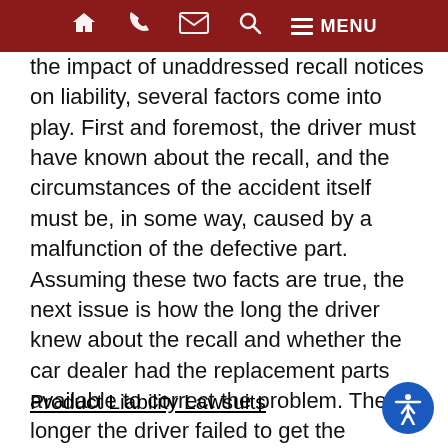Home | Phone | Mail | Search | MENU
the impact of unaddressed recall notices on liability, several factors come into play. First and foremost, the driver must have known about the recall, and the circumstances of the accident itself must be, in some way, caused by a malfunction of the defective part. Assuming these two facts are true, the next issue is how the long the driver knew about the recall and whether the car dealer had the replacement parts available to correct the problem. The longer the driver failed to get the defective item replaced, the easier it is to establish the driver was negligent, and that this negligence led to the accident and the accompanying injuries.
Product Liability Lawsuits